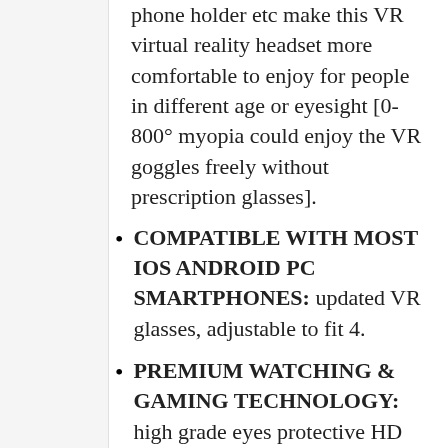phone holder etc make this VR virtual reality headset more comfortable to enjoy for people in different age or eyesight [0-800° myopia could enjoy the VR goggles freely without prescription glasses].
COMPATIBLE WITH MOST IOS ANDROID PC SMARTPHONES: updated VR glasses, adjustable to fit 4.
PREMIUM WATCHING & GAMING TECHNOLOGY: high grade eyes protective HD optical lens with large viewing angle & 3D HIFI over